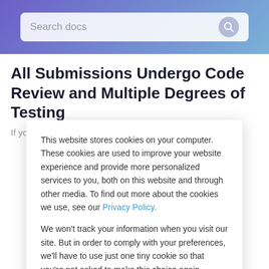Search docs
All Submissions Undergo Code Review and Multiple Degrees of Testing
This website stores cookies on your computer. These cookies are used to improve your website experience and provide more personalized services to you, both on this website and through other media. To find out more about the cookies we use, see our Privacy Policy.
We won't track your information when you visit our site. But in order to comply with your preferences, we'll have to use just one tiny cookie so that you're not asked to make this choice again.